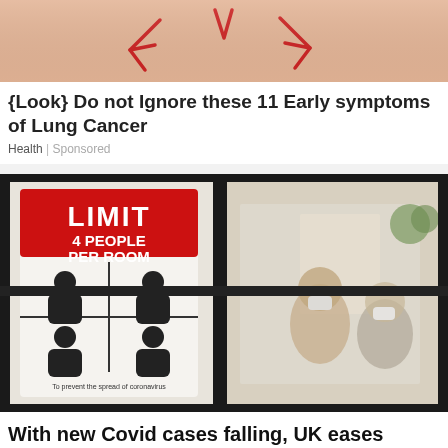[Figure (photo): Close-up of skin with red marks/irritation, partially visible at top of page]
{Look} Do not Ignore these 11 Early symptoms of Lung Cancer
Health | Sponsored
[Figure (photo): Photo showing a sign reading LIMIT 4 PEOPLE PER ROOM To prevent the spread of coronavirus, next to a glass window through which masked people in an office can be seen]
With new Covid cases falling, UK eases restrictions